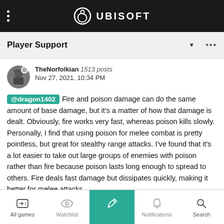UBISOFT
Player Support
TheNorfolkian 1513 posts
Nov 27, 2021, 10:34 PM
@dragon1402 Fire and poison damage can do the same amount of base damage, but it's a matter of how that damage is dealt. Obviously, fire works very fast, whereas poison kills slowly. Personally, I find that using poison for melee combat is pretty pointless, but great for stealthy range attacks. I've found that it's a lot easier to take out large groups of enemies with poison rather than fire because poison lasts long enough to spread to others. Fire deals fast damage but dissipates quickly, making it better for melee attacks.
> 1 Reply
All games  Watchlist  [edit]  Notifications  Search